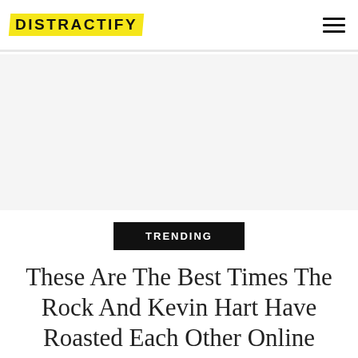DISTRACTIFY
[Figure (other): Advertisement / blank gray area]
TRENDING
These Are The Best Times The Rock And Kevin Hart Have Roasted Each Other Online